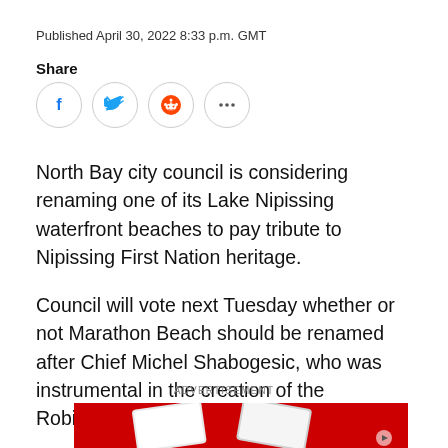Published April 30, 2022 8:33 p.m. GMT
Share
[Figure (other): Social share icons: Facebook (blue bird), Twitter (blue bird), Reddit (orange alien), More options (three dots)]
North Bay city council is considering renaming one of its Lake Nipissing waterfront beaches to pay tribute to Nipissing First Nation heritage.
Council will vote next Tuesday whether or not Marathon Beach should be renamed after Chief Michel Shabogesic, who was instrumental in the creation of the Robinson Huron Treaty of 1850.
ADVERTISEMENT
[Figure (photo): Advertisement image showing smartphones on a red background]